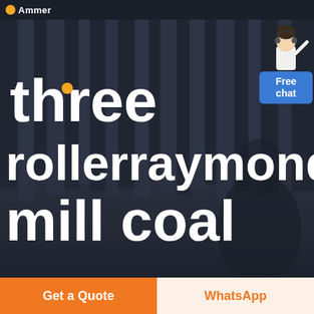Ammer (logo)
[Figure (screenshot): Website hero section with dark background showing industrial/curtain texture and a blurred figure silhouette]
three rollerraymond mill coal
[Figure (illustration): Free chat widget showing a customer service representative figure with a blue speech bubble saying 'Free chat']
Get a Quote
WhatsApp